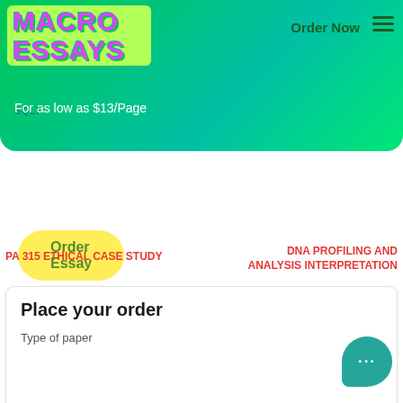[Figure (screenshot): MacroEssays website header banner with green gradient background, logo, Order Now nav, and Order Essay button]
MACRO ESSAYS
For as low as $13/Page
Order Essay
Continue to order
Get a quote
PA 315 ETHICAL CASE STUDY
DNA PROFILING AND ANALYSIS INTERPRETATION
Place your order
Type of paper